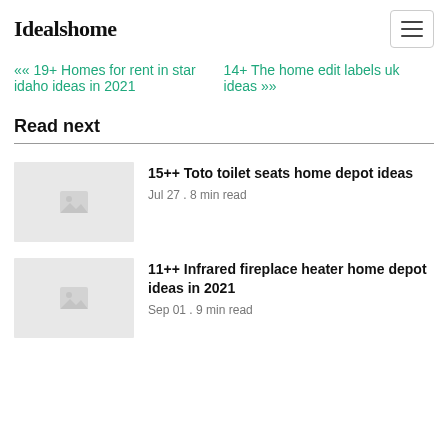Idealshome
«« 19+ Homes for rent in star idaho ideas in 2021
14+ The home edit labels uk ideas »»
Read next
15++ Toto toilet seats home depot ideas
Jul 27 . 8 min read
11++ Infrared fireplace heater home depot ideas in 2021
Sep 01 . 9 min read